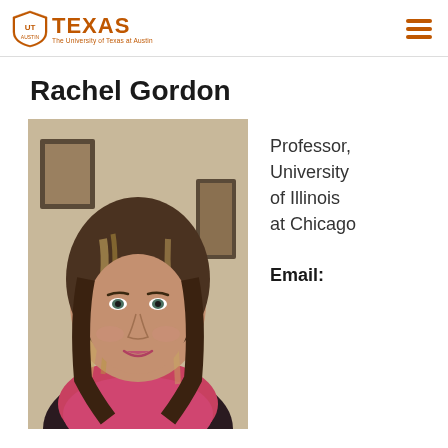TEXAS — The University of Texas at Austin
Rachel Gordon
[Figure (photo): Headshot of Rachel Gordon, a woman with long wavy brown and blonde highlighted hair, wearing a pink/magenta scarf and dark floral top, photographed indoors against a neutral background with framed artwork visible behind her.]
Professor, University of Illinois at Chicago
Email: